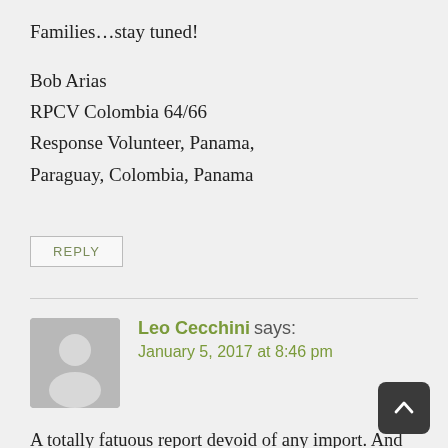Families…stay tuned!
Bob Arias
RPCV Colombia 64/66
Response Volunteer, Panama,
Paraguay, Colombia, Panama
REPLY
Leo Cecchini says:
January 5, 2017 at 8:46 pm
A totally fatuous report devoid of any import. And this guy is a successful writer? He does make one important point, the Peace Corps is not a junior development agency, and it will…